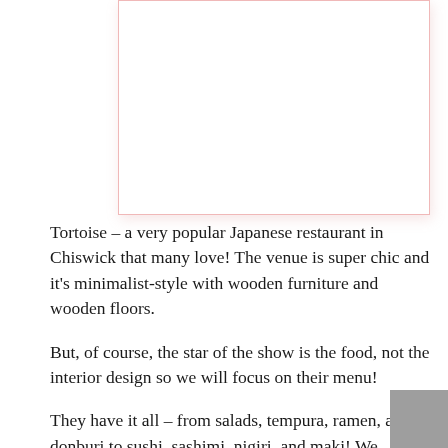[Figure (photo): Placeholder image area with pink/red border, likely a photo of the Tortoise restaurant interior or food.]
Tortoise – a very popular Japanese restaurant in Chiswick that many love! The venue is super chic and it's minimalist-style with wooden furniture and wooden floors.
But, of course, the star of the show is the food, not the interior design so we will focus on their menu!
They have it all – from salads, tempura, ramen, and donburi to sushi, sashimi, nigiri, and maki! We always start off with the Sashimi Salad (raw fish, green leaves, tomato, tobiko, shoyu-based dressing with wasabi and